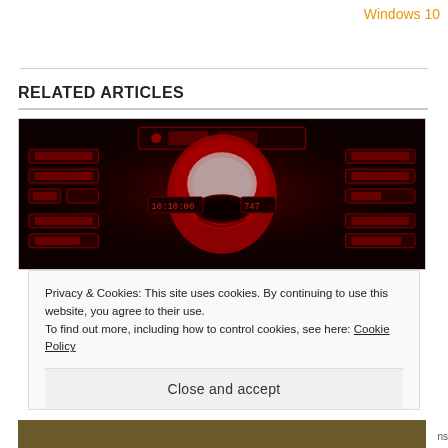Windows 10
RELATED ARTICLES
[Figure (screenshot): Screenshot of a dark sci-fi themed desktop wallpaper or skin featuring an alien/robot face in red and black tones with digital readouts and panels]
Privacy & Cookies: This site uses cookies. By continuing to use this website, you agree to their use.
To find out more, including how to control cookies, see here: Cookie Policy
Close and accept